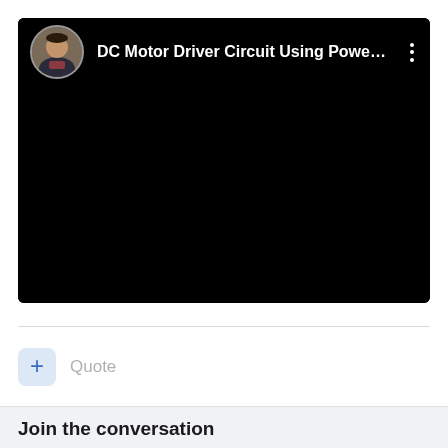[Figure (screenshot): Video player card with black thumbnail showing title 'DC Motor Driver Circuit Using Powe...' with a circular user avatar on the left and a three-dot menu icon on the right]
Quote
Join the conversation